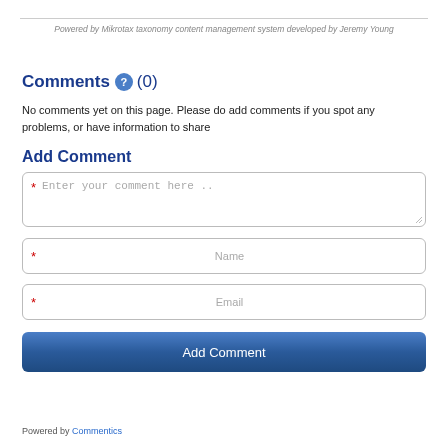Powered by Mikrotax taxonomy content management system developed by Jeremy Young
Comments (0)
No comments yet on this page. Please do add comments if you spot any problems, or have information to share
Add Comment
[Figure (other): Comment text area input field with placeholder 'Enter your comment here ..']
[Figure (other): Name input field with placeholder 'Name']
[Figure (other): Email input field with placeholder 'Email']
[Figure (other): Add Comment submit button with dark blue gradient background]
Powered by Commentics